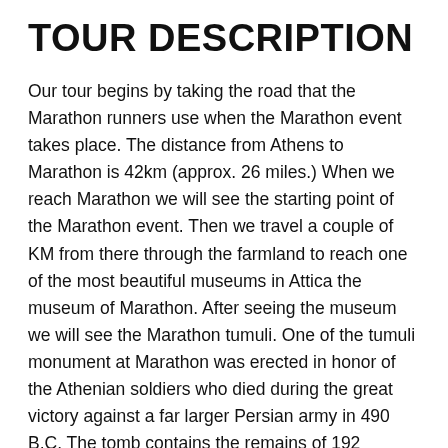TOUR DESCRIPTION
Our tour begins by taking the road that the Marathon runners use when the Marathon event takes place. The distance from Athens to Marathon is 42km (approx. 26 miles.) When we reach Marathon we will see the starting point of the Marathon event. Then we travel a couple of KM from there through the farmland to reach one of the most beautiful museums in Attica the museum of Marathon. After seeing the museum we will see the Marathon tumuli. One of the tumuli monument at Marathon was erected in honor of the Athenian soldiers who died during the great victory against a far larger Persian army in 490 B.C. The tomb contains the remains of 192 Athenians. We continue our tour by going through the farmland where we will see many fig and pistachio trees. After a while we will reach the ancient site of Vravrona. This site has one of the most